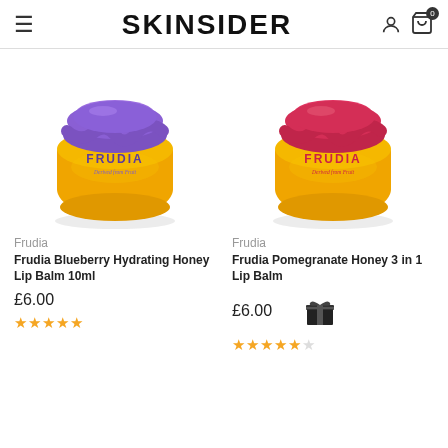SKINSIDER
[Figure (photo): Frudia Blueberry Hydrating Honey Lip Balm product jar with purple lid and orange body]
[Figure (photo): Frudia Pomegranate Honey 3 in 1 Lip Balm product jar with red/pink lid and orange body]
Frudia
Frudia
Frudia Blueberry Hydrating Honey Lip Balm 10ml
Frudia Pomegranate Honey 3 in 1 Lip Balm
£6.00
£6.00
★★★★★
★★★★★☆